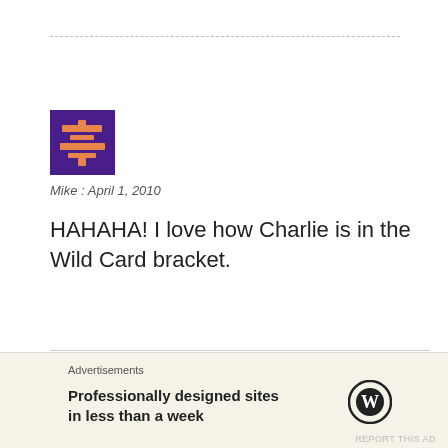[Figure (illustration): Purple pixel-art avatar icon with orange geometric shapes]
Mike : April 1, 2010
HAHAHA! I love how Charlie is in the Wild Card bracket.
Leave a Reply
Your email address will not be published.
Required fields are marked *
Advertisements
Professionally designed sites in less than a week